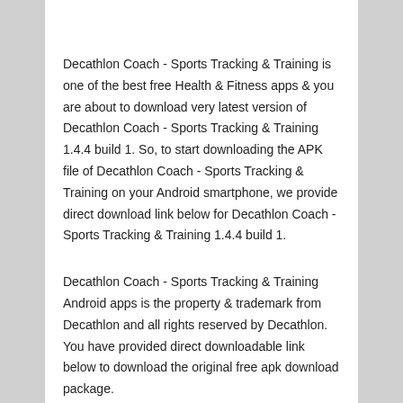Decathlon Coach - Sports Tracking & Training is one of the best free Health & Fitness apps & you are about to download very latest version of Decathlon Coach - Sports Tracking & Training 1.4.4 build 1. So, to start downloading the APK file of Decathlon Coach - Sports Tracking & Training on your Android smartphone, we provide direct download link below for Decathlon Coach - Sports Tracking & Training 1.4.4 build 1.
Decathlon Coach - Sports Tracking & Training Android apps is the property & trademark from Decathlon and all rights reserved by Decathlon. You have provided direct downloadable link below to download the original free apk download package.
Please be aware that softstribe.com only share the original and free apk installer package for Decathlon